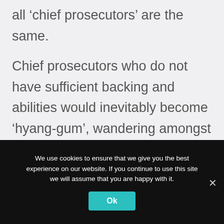all 'chief prosecutors' are the same.
Chief prosecutors who do not have sufficient backing and abilities would inevitably become 'hyang-gum', wandering amongst different branch district offices. Both the hyang-gum and its magistrate counterpart, hyang-pan,
We use cookies to ensure that we give you the best experience on our website. If you continue to use this site we will assume that you are happy with it.